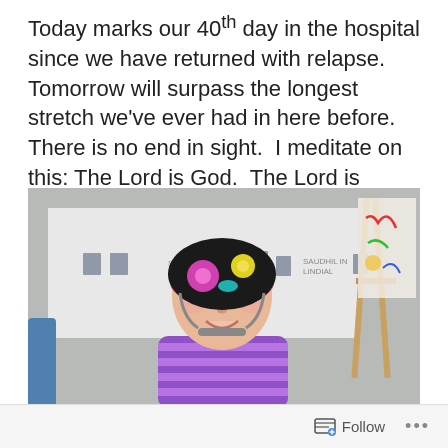Today marks our 40th day in the hospital since we have returned with relapse.  Tomorrow will surpass the longest stretch we've ever had in here before.  There is no end in sight.  I meditate on this: The Lord is God.  The Lord is Good.
[Figure (photo): A young girl smiling, wearing a colorful floral bicycle helmet and a purple striped shirt, sitting in what appears to be a hospital room with a white sheet hanging behind her and a wooden easel on the right side.]
Follow ...